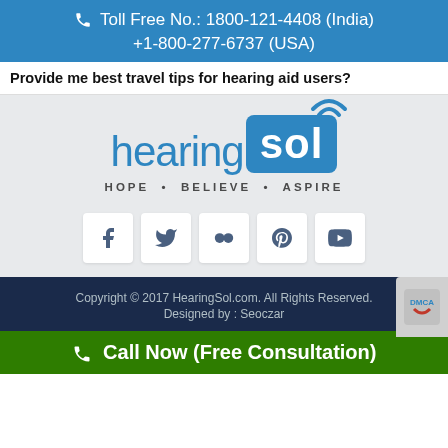Toll Free No.: 1800-121-4408 (India)
+1-800-277-6737 (USA)
Provide me best travel tips for hearing aid users?
[Figure (logo): HearingSol logo with hearing sol text, blue wifi signal icon, and tagline HOPE • BELIEVE • ASPIRE, with social media icons (Facebook, Twitter, Flickr, Pinterest, YouTube)]
Copyright © 2017 HearingSol.com. All Rights Reserved.
Designed by : Seoczar
Call Now (Free Consultation)